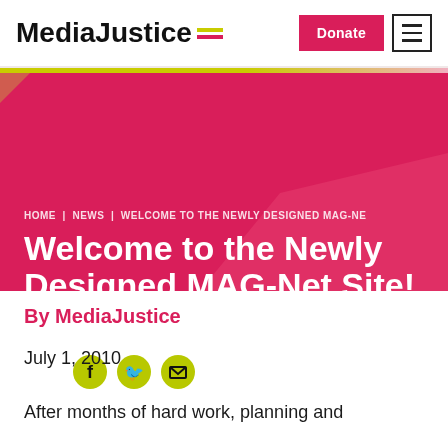MediaJustice | Donate | Menu
Welcome to the Newly Designed MAG-Net Site!
HOME | NEWS | WELCOME TO THE NEWLY DESIGNED MAG-NE
Share
By MediaJustice
July 1, 2010
After months of hard work, planning and